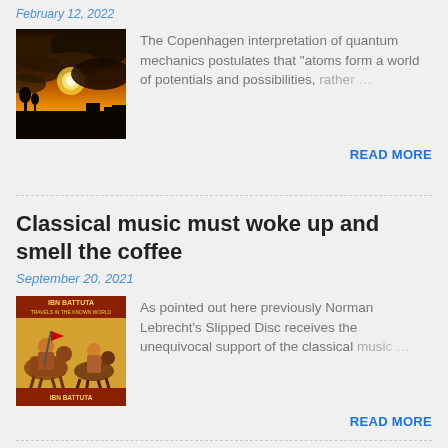February 12, 2022
[Figure (photo): Sunset through dark clouds with silhouetted landscape]
The Copenhagen interpretation of quantum mechanics postulates that "atoms form a world of potentials and possibilities, rather …
READ MORE
Classical music must woke up and smell the coffee
September 20, 2021
[Figure (photo): Ibn Battuta book cover showing medieval Islamic warriors on horseback]
As pointed out here previously Norman Lebrecht's Slipped Disc receives the unequivocal support of the classical music …
READ MORE